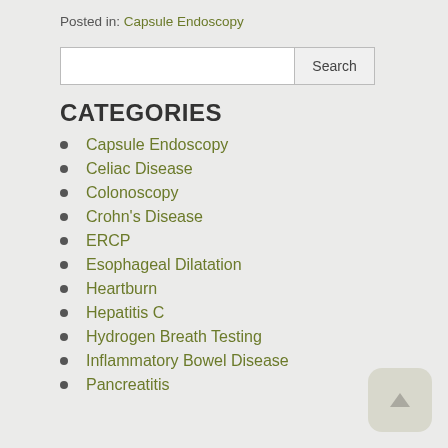Posted in: Capsule Endoscopy
Capsule Endoscopy
Celiac Disease
Colonoscopy
Crohn's Disease
ERCP
Esophageal Dilatation
Heartburn
Hepatitis C
Hydrogen Breath Testing
Inflammatory Bowel Disease
Pancreatitis